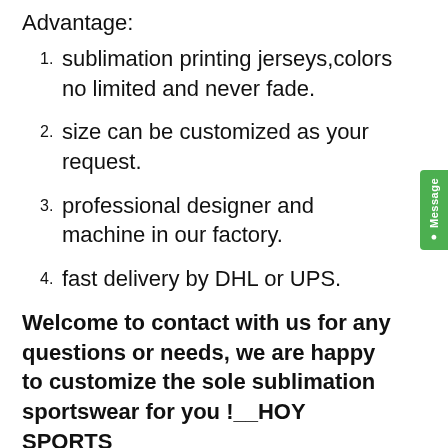Advantage:
sublimation printing jerseys,colors no limited and never fade.
size can be customized as your request.
professional designer and machine in our factory.
fast delivery by DHL or UPS.
Welcome to contact with us for any questions or needs, we are happy to customize the sole sublimation sportswear for you !__HOY SPORTS